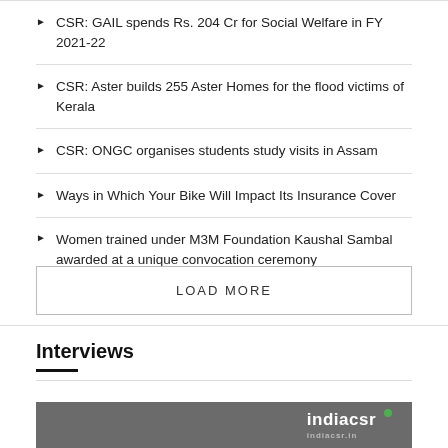CSR: GAIL spends Rs. 204 Cr for Social Welfare in FY 2021-22
CSR: Aster builds 255 Aster Homes for the flood victims of Kerala
CSR: ONGC organises students study visits in Assam
Ways in Which Your Bike Will Impact Its Insurance Cover
Women trained under M3M Foundation Kaushal Sambal awarded at a unique convocation ceremony
LOAD MORE
Interviews
[Figure (screenshot): indiacsr logo on grey background thumbnail]